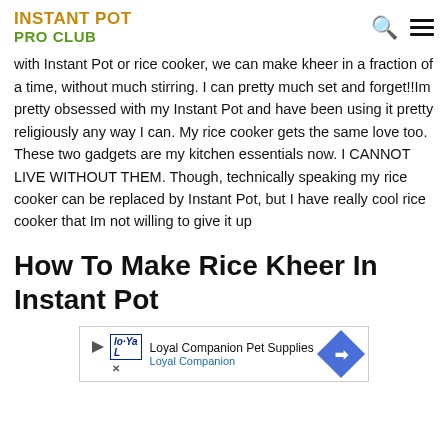INSTANT POT PRO CLUB
with Instant Pot or rice cooker, we can make kheer in a fraction of a time, without much stirring. I can pretty much set and forget!!Im pretty obsessed with my Instant Pot and have been using it pretty religiously any way I can. My rice cooker gets the same love too. These two gadgets are my kitchen essentials now. I CANNOT LIVE WITHOUT THEM. Though, technically speaking my rice cooker can be replaced by Instant Pot, but I have really cool rice cooker that Im not willing to give it up
How To Make Rice Kheer In Instant Pot
[Figure (other): Advertisement banner for Loyal Companion Pet Supplies with logo, play button, and blue diamond arrow icon]